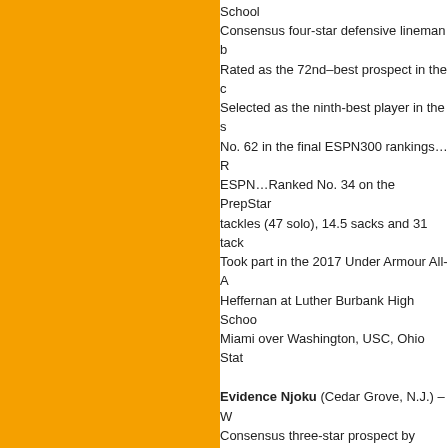School Consensus four-star defensive lineman b... Rated as the 72nd–best prospect in the c... Selected as the ninth-best player in the s... No. 62 in the final ESPN300 rankings…R... ESPN…Ranked No. 34 on the PrepStar... tackles (47 solo), 14.5 sacks and 31 tack... Took part in the 2017 Under Armour All-A... Heffernan at Luther Burbank High Schoo... Miami over Washington, USC, Ohio Stat...
Evidence Njoku (Cedar Grove, N.J.) – W... Consensus three-star prospect by 247Sp... the top recruits in the state of New Jerse... ESPN...Spent three season at Cedar Gro... Wayne Hills as a senior...Caught 18 pass... junior at Cedar Grove...Also excelled on... accumulated 350 yards and four addition... Finished his senior season with over 400... touchdowns...Coached by Wayne Demik... former Hurricane wide receiver David Njo... Boston College, Georgia, Illinois, Missou...